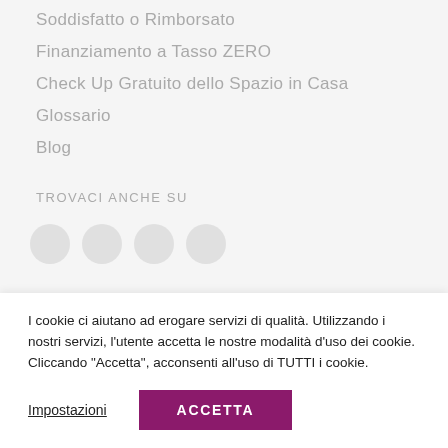Soddisfatto o Rimborsato
Finanziamento a Tasso ZERO
Check Up Gratuito dello Spazio in Casa
Glossario
Blog
TROVACI ANCHE SU
[Figure (illustration): Four partially visible circular social media icons in grey]
I cookie ci aiutano ad erogare servizi di qualità. Utilizzando i nostri servizi, l'utente accetta le nostre modalità d'uso dei cookie. Cliccando "Accetta", acconsenti all'uso di TUTTI i cookie.
Impostazioni   ACCETTA